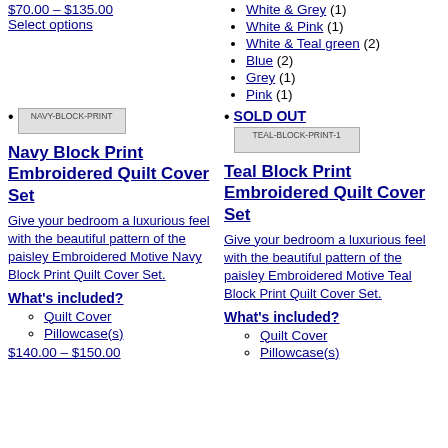$70.00 – $135.00 Select options
White & Grey (1)
White & Pink (1)
White & Teal green (2)
Blue (2)
Grey (1)
Pink (1)
[Figure (other): NAVY-BLOCK-PRINT product image placeholder]
SOLD OUT
[Figure (other): TEAL-BLOCK-PRINT-1 product image placeholder]
Navy Block Print Embroidered Quilt Cover Set
Teal Block Print Embroidered Quilt Cover Set
Give your bedroom a luxurious feel with the beautiful pattern of the paisley Embroidered Motive Navy Block Print Quilt Cover Set.
Give your bedroom a luxurious feel with the beautiful pattern of the paisley Embroidered Motive Teal Block Print Quilt Cover Set.
What's included?
What's included?
Quilt Cover
Pillowcase(s)
Quilt Cover
Pillowcase(s)
$140.00 – $150.00